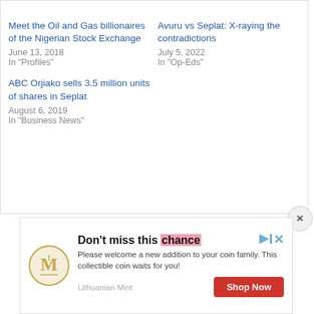Related
Meet the Oil and Gas billionaires of the Nigerian Stock Exchange
June 13, 2018
In "Profiles"
Avuru vs Seplat: X-raying the contradictions
July 5, 2022
In "Op-Eds"
ABC Orjiako sells 3.5 million units of shares in Seplat
August 6, 2019
In "Business News"
[Figure (infographic): Advertisement for Lithuanian Mint collectible coin. Features gold coin logo, headline 'Don't miss this chance', body text 'Please welcome a new addition to your coin family. This collectible coin waits for you!', brand name 'Lithuanian Mint', and a red 'Shop Now' button.]